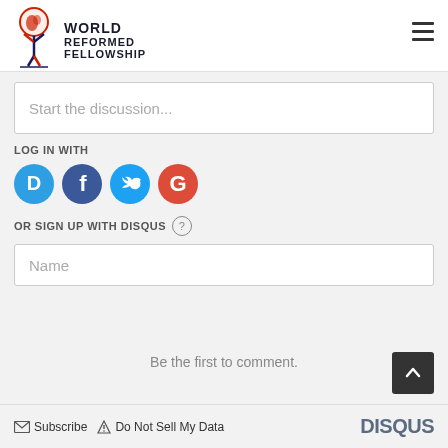[Figure (logo): World Reformed Fellowship logo with globe and figure, red and dark blue colors]
WORLD
REFORMED
FELLOWSHIP
Start the discussion...
LOG IN WITH
[Figure (illustration): Social login icons: Disqus (blue circle with D), Facebook (dark blue circle with f), Twitter (light blue circle with bird), Google (red circle with G)]
OR SIGN UP WITH DISQUS ?
Name
Be the first to comment.
Subscribe   Do Not Sell My Data   DISQUS